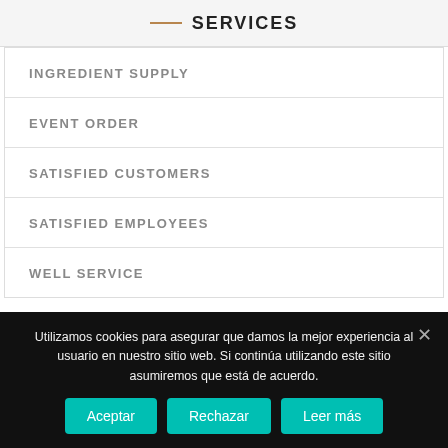SERVICES
INGREDIENT SUPPLY
EVENT ORDER
SATISFIED CUSTOMERS
SATISFIED EMPLOYEES
WELL SERVICE
Utilizamos cookies para asegurar que damos la mejor experiencia al usuario en nuestro sitio web. Si continúa utilizando este sitio asumiremos que está de acuerdo.
Aceptar | Rechazar | Leer más